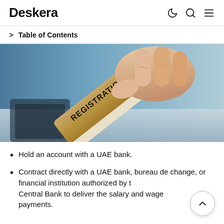Deskera
Table of Contents
[Figure (photo): A hand holding a wooden rubber stamp that reads REGISTRATION in bold capital letters, positioned above a surface, with a blurred background.]
Hold an account with a UAE bank.
Contract directly with a UAE bank, bureau de change, or financial institution authorized by the Central Bank to deliver the salary and wage payments.